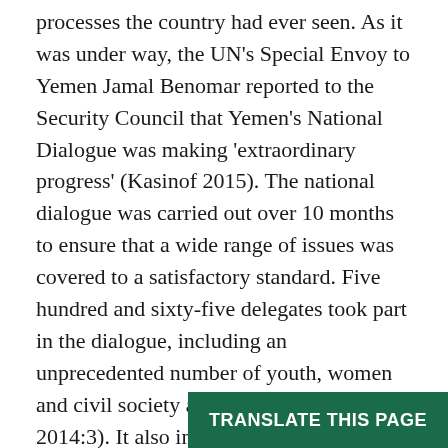processes the country had ever seen. As it was under way, the UN's Special Envoy to Yemen Jamal Benomar reported to the Security Council that Yemen's National Dialogue was making 'extraordinary progress' (Kasinof 2015). The national dialogue was carried out over 10 months to ensure that a wide range of issues was covered to a satisfactory standard. Five hundred and sixty-five delegates took part in the dialogue, including an unprecedented number of youth, women and civil society activists (Gaston 2014:3). It also included representatives who had never been allowed to engage in the country's main political discussions, namely the Houthis and representatives from the southern separatist movement Al Hirak. The fact that these new actors were invited to engage on an equal footing with the main political parties and tribal leaders was very si